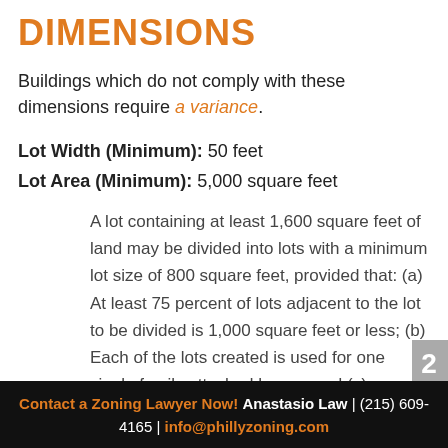DIMENSIONS
Buildings which do not comply with these dimensions require a variance.
Lot Width (Minimum): 50 feet
Lot Area (Minimum): 5,000 square feet
A lot containing at least 1,600 square feet of land may be divided into lots with a minimum lot size of 800 square feet, provided that: (a) At least 75 percent of lots adjacent to the lot to be divided is 1,000 square feet or less; (b) Each of the lots created is used for one single family attached house; and (c)
Contact a Zoning Lawyer Now! Anastasio Law | (215) 609-4165 | info@phillyzoning.com